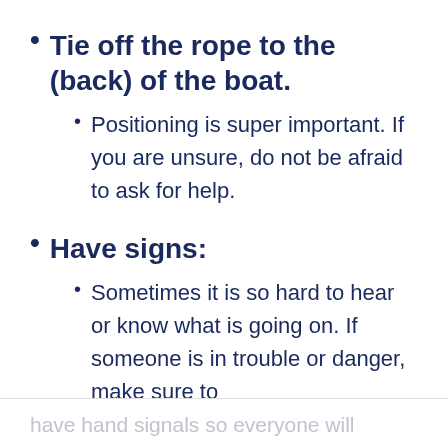Tie off the rope to the (back) of the boat.
Positioning is super important. If you are unsure, do not be afraid to ask for help.
Have signs:
Sometimes it is so hard to hear or know what is going on. If someone is in trouble or danger, make sure to
have hand signals so everyone will